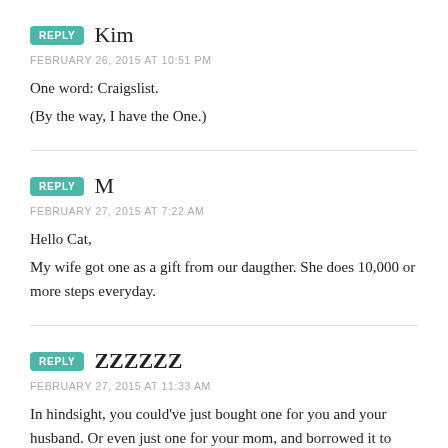REPLY Kim
FEBRUARY 26, 2015 AT 10:51 PM
One word: Craigslist.
(By the way, I have the One.)
REPLY M
FEBRUARY 27, 2015 AT 7:22 AM
Hello Cat,
My wife got one as a gift from our daugther. She does 10,000 or more steps everyday.
REPLY ZZZZZZ
FEBRUARY 27, 2015 AT 11:33 AM
In hindsight, you could've just bought one for you and your husband. Or even just one for your mom, and borrowed it to assess your level of activity.